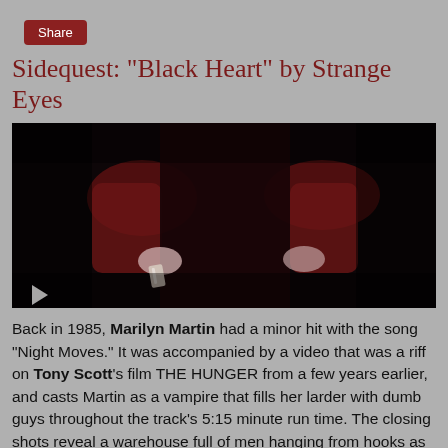Share
Sidequest: "Black Heart" by Strange Eyes
[Figure (photo): Dark moody video still: a person in a dark red long-sleeve top, standing with arms slightly apart, one hand holding a small object (possibly a blade), against a near-black background. A small play button triangle is visible at the lower left.]
Back in 1985, Marilyn Martin had a minor hit with the song "Night Moves." It was accompanied by a video that was a riff on Tony Scott's film THE HUNGER from a few years earlier, and casts Martin as a vampire that fills her larder with dumb guys throughout the track's 5:15 minute run time. The closing shots reveal a warehouse full of men hanging from hooks as police swarm the location. I can't imagine too many people